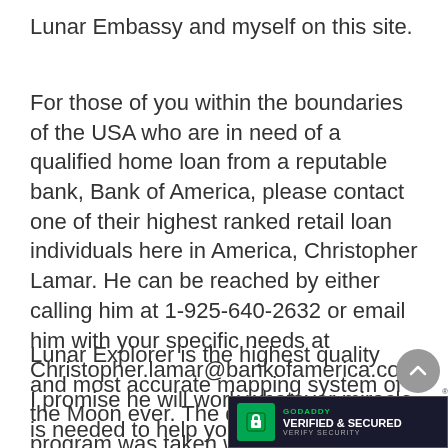Lunar Embassy and myself on this site.
For those of you within the boundaries of the USA who are in need of a qualified home loan from a reputable bank, Bank of America, please contact one of their highest ranked retail loan individuals here in America, Christopher Lamar. He can be reached by either calling him at 1-925-640-2632 or email him with your specific needs at Christopher.lamar@bankofamerica.com. I promise he will work whatever miracle is needed to help you get the home loan you deserve. Bank of America is lending money now for home loans.
Lunar Explorer is the highest quality and most accurate mapping system of the Moon ever. The design for this program was taken with Lunar Embassy property owners in mind. You can place your property description from your deed into this system and it will take you
[Figure (logo): GoDaddy Verified & Secured badge with lock icon and verify security text]